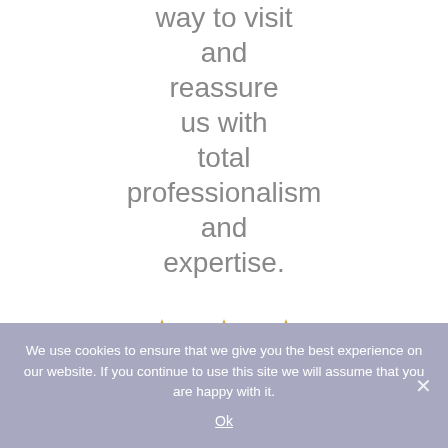way to visit and reassure us with total professionalism and expertise.
[Figure (illustration): Five gold stars arranged in two rows (3 on top, 2 on bottom) representing a 5-star rating]
We use cookies to ensure that we give you the best experience on our website. If you continue to use this site we will assume that you are happy with it.
Ok